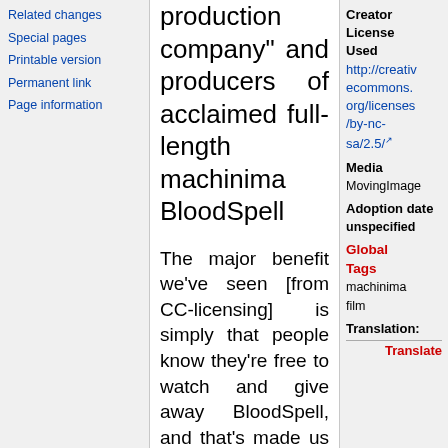Related changes
Special pages
Printable version
Permanent link
Page information
production company" and producers of acclaimed full-length machinima BloodSpell
The major benefit we've seen [from CC-licensing] is simply that people know they're free to watch and give away BloodSpell, and that's made us very popular - to the extent that we're currently the second most
Creator License Used
http://creativecommons.org/licenses/by-nc-sa/2.5/
Media
MovingImage
Adoption date
unspecified
Global Tags
machinima film
Translation:
Translate